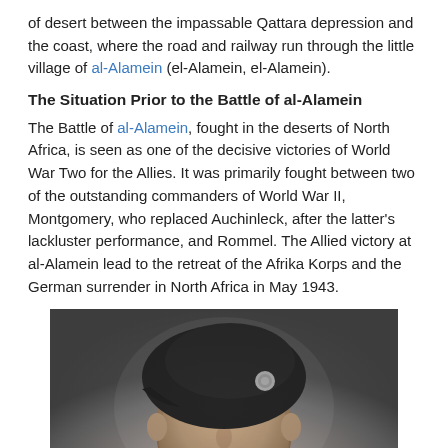of desert between the impassable Qattara depression and the coast, where the road and railway run through the little village of al-Alamein (el-Alamein, el-Alamein).
The Situation Prior to the Battle of al-Alamein
The Battle of al-Alamein, fought in the deserts of North Africa, is seen as one of the decisive victories of World War Two for the Allies. It was primarily fought between two of the outstanding commanders of World War II, Montgomery, who replaced Auchinleck, after the latter's lackluster performance, and Rommel. The Allied victory at al-Alamein lead to the retreat of the Afrika Korps and the German surrender in North Africa in May 1943.
[Figure (photo): Black and white portrait photograph of a military officer wearing a dark beret with a badge/insignia, looking slightly upward. The photo shows an older man with a weathered face.]